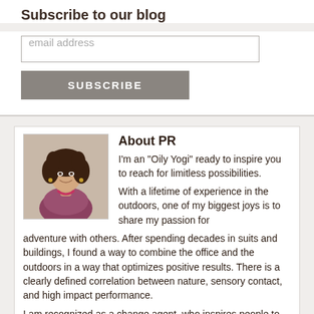Subscribe to our blog
email address
SUBSCRIBE
About PR
[Figure (photo): Portrait photo of a woman with dark curly hair, smiling, wearing a colorful top]
I'm an “Oily Yogi” ready to inspire you to reach for limitless possibilities. With a lifetime of experience in the outdoors, one of my biggest joys is to share my passion for adventure with others. After spending decades in suits and buildings, I found a way to combine the office and the outdoors in a way that optimizes positive results. There is a clearly defined correlation between nature, sensory contact, and high impact performance. I am recognized as a change agent, who inspires people to allow their dreams to become reality through group and individual experiential settings. But perhaps the best gift I can bring to the table is my passion for your wellbeing. I enjoy coaching and training others to achieve their personal and professional goals, focusing on health, wellness wholeness, and limitless